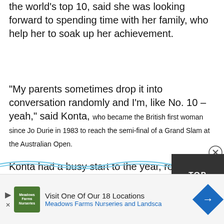the world's top 10, said she was looking forward to spending time with her family, who help her to soak up her achievement.
“My parents sometimes drop it into conversation randomly and I’m, like No. 10 –yeah,” said Konta, who became the British first woman since Jo Durie in 1983 to reach the semi-final of a Grand Slam at the Australian Open.
Konta had a busy start to the year, reaching the semi-finals of the Australian Open, beating Venus Williams in the first round. Her season ended in Singapore, where by virtue of her ranking, she attended the WTA season-ending finals as an
[Figure (other): Decorative wave lines at the bottom of the article content]
[Figure (other): Dark grey TOP button in bottom right corner with circular X close button]
Visit One Of Our 18 Locations Meadows Farms Nurseries and Landsca